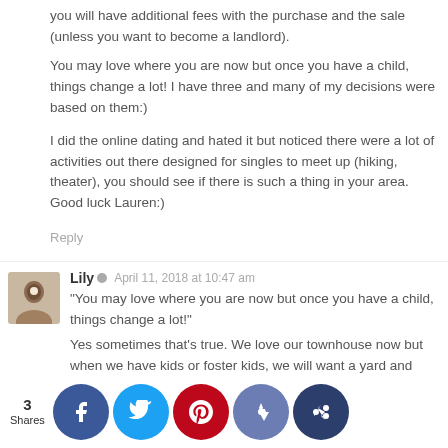you will have additional fees with the purchase and the sale (unless you want to become a landlord).
You may love where you are now but once you have a child, things change a lot! I have three and many of my decisions were based on them:)
I did the online dating and hated it but noticed there were a lot of activities out there designed for singles to meet up (hiking, theater), you should see if there is such a thing in your area. Good luck Lauren:)
Reply
Lily  ©  April 11, 2018 at 10:47 am
"You may love where you are now but once you have a child, things change a lot!"
Yes sometimes that's true. We love our townhouse now but when we have kids or foster kids, we will want a yard and more privacy.
The online dating thing is going to be a hit or miss. Technically , OkC it dow rience 100 ns the you to a . But it bit
3 Shares